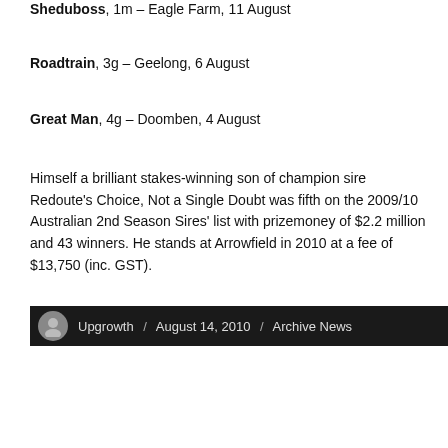Sheduboss, 1m – Eagle Farm, 11 August
Roadtrain, 3g – Geelong, 6 August
Great Man, 4g – Doomben, 4 August
Himself a brilliant stakes-winning son of champion sire Redoute's Choice, Not a Single Doubt was fifth on the 2009/10 Australian 2nd Season Sires' list with prizemoney of $2.2 million and 43 winners. He stands at Arrowfield in 2010 at a fee of $13,750 (inc. GST).
Upgrowth / August 14, 2010 / Archive News